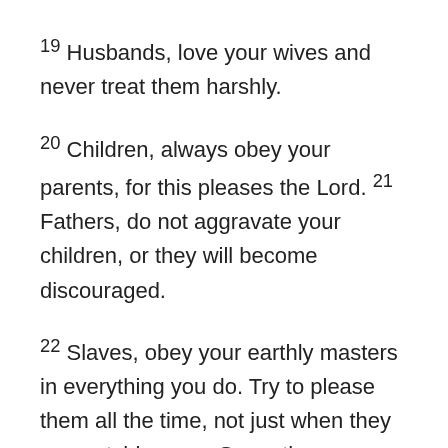19 Husbands, love your wives and never treat them harshly.
20 Children, always obey your parents, for this pleases the Lord. 21 Fathers, do not aggravate your children, or they will become discouraged.
22 Slaves, obey your earthly masters in everything you do. Try to please them all the time, not just when they are watching you. Serve them sincerely because of your reverent fear of the Lord. 23 Work willingly at whatever you do, as though you were working for the Lord rather than for people. 24 Remember that the Lord will give you an inheritance as your reward, and that the Master